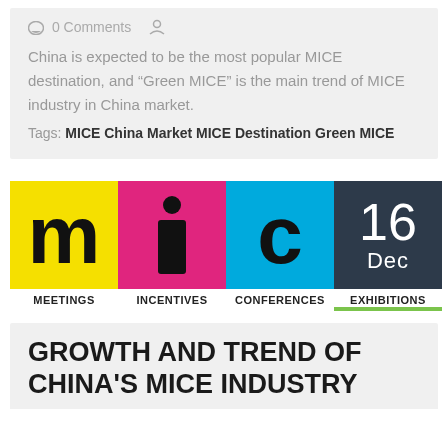0 Comments
China is expected to be the most popular MICE destination, and “Green MICE” is the main trend of MICE industry in China market.
Tags: MICE China Market MICE Destination Green MICE
[Figure (logo): MICE logo with four colored boxes: yellow M (Meetings), pink I (Incentives), cyan C (Conferences), dark navy date box showing 16 Dec (Exhibitions). Below each box: MEETINGS, INCENTIVES, CONFERENCES, EXHIBITIONS labels.]
GROWTH AND TREND OF CHINA'S MICE INDUSTRY